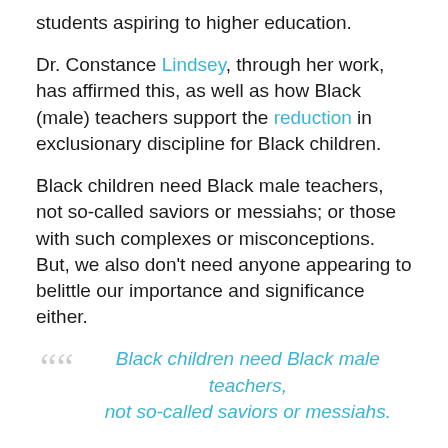students aspiring to higher education.
Dr. Constance Lindsey, through her work, has affirmed this, as well as how Black (male) teachers support the reduction in exclusionary discipline for Black children.
Black children need Black male teachers, not so-called saviors or messiahs; or those with such complexes or misconceptions. But, we also don't need anyone appearing to belittle our importance and significance either.
“Black children need Black male teachers, not so-called saviors or messiahs.